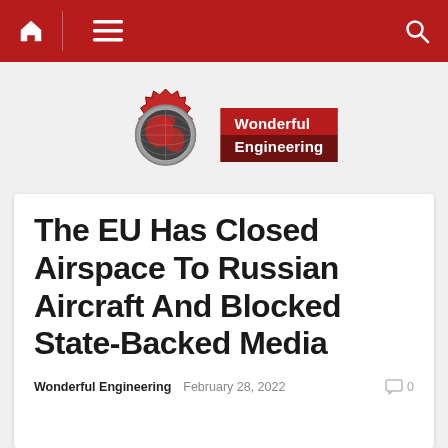Navigation bar with home icon, menu icon, and search icon
[Figure (logo): Wonderful Engineering logo: red gear with globe, text 'Wonderful Engineering' on red background]
The EU Has Closed Airspace To Russian Aircraft And Blocked State-Backed Media
Wonderful Engineering   February 28, 2022   0